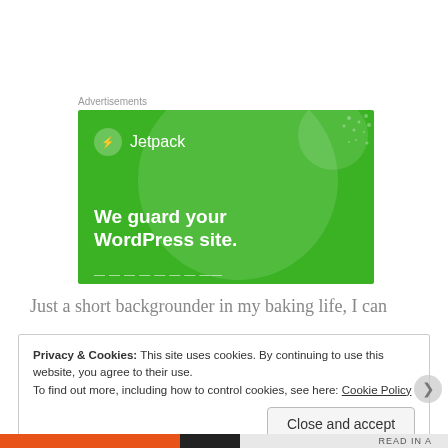Advertisements
[Figure (screenshot): Jetpack advertisement banner on green background with text 'We guard your WordPress site.']
Just a short backgrounder in my baking life, I can
Privacy & Cookies: This site uses cookies. By continuing to use this website, you agree to their use.
To find out more, including how to control cookies, see here: Cookie Policy
Close and accept